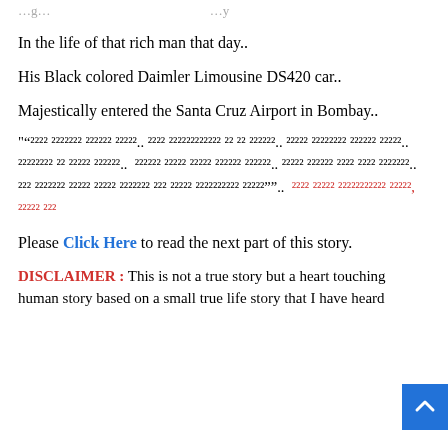In the life of that rich man that day..
His Black colored Daimler Limousine DS420 car..
Majestically entered the Santa Cruz Airport in Bombay..
“[Tamil text].. [Tamil text] [Tamil text].. [Tamil text] [Tamil text] [Tamil text].. [Tamil text] [Tamil text] [Tamil text]..”.. [red Tamil text]
Please Click Here to read the next part of this story.
DISCLAIMER : This is not a true story but a heart touching human story based on a small true life story that I have heard